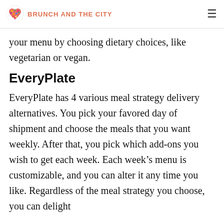BRUNCH AND THE CITY
your menu by choosing dietary choices, like vegetarian or vegan.
EveryPlate
EveryPlate has 4 various meal strategy delivery alternatives. You pick your favored day of shipment and choose the meals that you want weekly. After that, you pick which add-ons you wish to get each week. Each week’s menu is customizable, and you can alter it any time you like. Regardless of the meal strategy you choose, you can delight